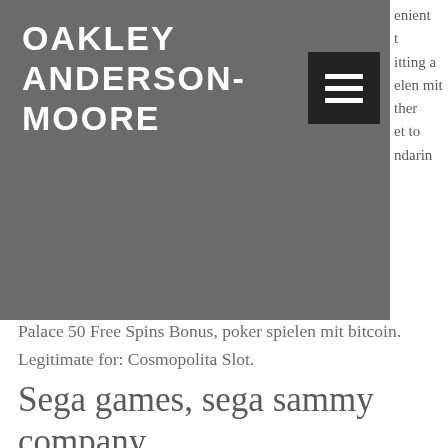OAKLEY ANDERSON-MOORE
...enient ...t ...itting a ...elen mit ...ther ...et to ...ndarin Palace 50 Free Spins Bonus, poker spielen mit bitcoin. Legitimate for: Cosmopolita Slot.
Sega games, sega sammy company
Check whether you must enter online casino no deposit bonus codes to qualify for bonuses. Bonus winnings often have a maximum winning amount. You may get 20 free spins or bonus cash which is capped at $50 maximum, sega slot machine sega class machine. Keep in mind that it is different from 200 free spins no deposit UK because you are required to make a deposit and the